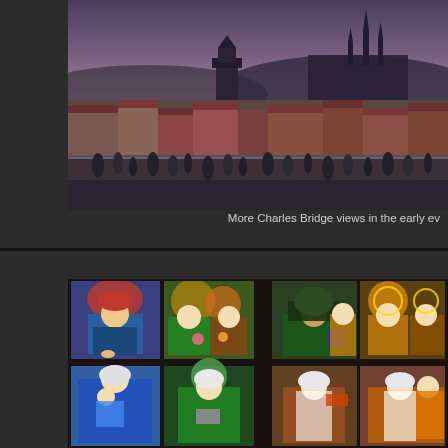[Figure (photo): Photo of Charles Bridge in Prague during early evening, showing people walking on the bridge, historic towers, red-roofed buildings, and Prague Castle silhouetted against a purple-pink sky.]
More Charles Bridge views in the early ev
[Figure (photo): Photo of ornate stained glass windows in a cathedral, showing colorful depictions of religious figures and saints in multiple panels arranged in a grid pattern.]